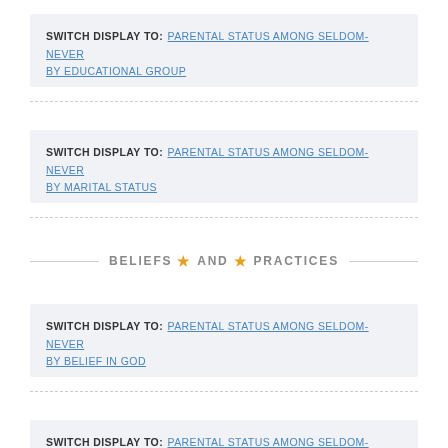SWITCH DISPLAY TO: PARENTAL STATUS AMONG SELDOM-NEVER BY EDUCATIONAL GROUP
SWITCH DISPLAY TO: PARENTAL STATUS AMONG SELDOM-NEVER BY MARITAL STATUS
BELIEFS AND PRACTICES
SWITCH DISPLAY TO: PARENTAL STATUS AMONG SELDOM-NEVER BY BELIEF IN GOD
SWITCH DISPLAY TO: PARENTAL STATUS AMONG SELDOM-NEVER BY IMPORTANCE OF RELIGION
SWITCH DISPLAY TO: PARENTAL STATUS AMONG SELDOM-NEVER